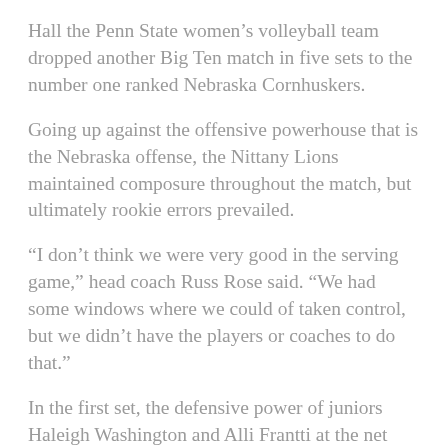Hall the Penn State women's volleyball team dropped another Big Ten match in five sets to the number one ranked Nebraska Cornhuskers.
Going up against the offensive powerhouse that is the Nebraska offense, the Nittany Lions maintained composure throughout the match, but ultimately rookie errors prevailed.
“I don’t think we were very good in the serving game,” head coach Russ Rose said. “We had some windows where we could of taken control, but we didn’t have the players or coaches to do that.”
In the first set, the defensive power of juniors Haleigh Washington and Alli Frantti at the net allowed the Nittany Lions to take a 12-8 lead early. Redshirt freshman Tori Gorrell was also a force at